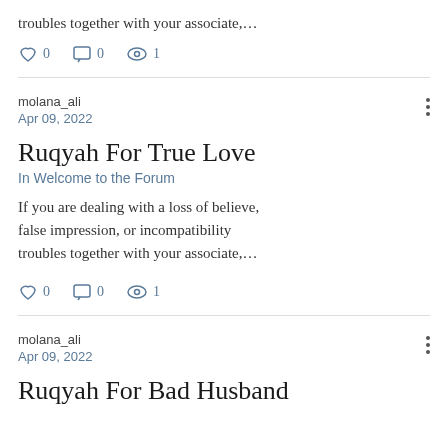troubles together with your associate,…
♡ 0   💬 0   👁 1
molana_ali
Apr 09, 2022
Ruqyah For True Love
In Welcome to the Forum
If you are dealing with a loss of believe, false impression, or incompatibility troubles together with your associate,…
♡ 0   💬 0   👁 1
molana_ali
Apr 09, 2022
Ruqyah For Bad Husband